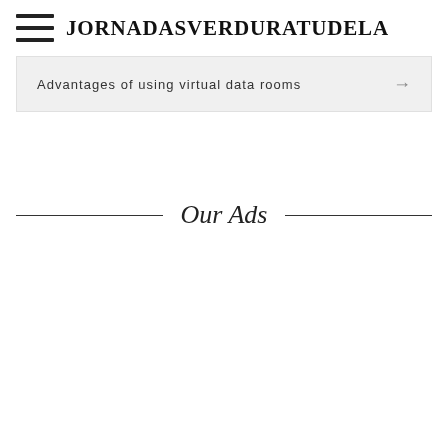JORNADASVERDURATUDELA
Advantages of using virtual data rooms →
Our Ads